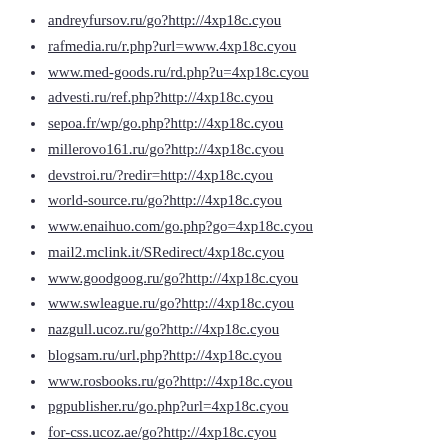andreyfursov.ru/go?http://4xp18c.cyou
rafmedia.ru/r.php?url=www.4xp18c.cyou
www.med-goods.ru/rd.php?u=4xp18c.cyou
advesti.ru/ref.php?http://4xp18c.cyou
sepoa.fr/wp/go.php?http://4xp18c.cyou
millerovo161.ru/go?http://4xp18c.cyou
devstroi.ru/?redir=http://4xp18c.cyou
world-source.ru/go?http://4xp18c.cyou
www.enaihuo.com/go.php?go=4xp18c.cyou
mail2.mclink.it/SRedirect/4xp18c.cyou
www.goodgoog.ru/go?http://4xp18c.cyou
www.swleague.ru/go?http://4xp18c.cyou
nazgull.ucoz.ru/go?http://4xp18c.cyou
blogsam.ru/url.php?http://4xp18c.cyou
www.rosbooks.ru/go?http://4xp18c.cyou
pgpublisher.ru/go.php?url=4xp18c.cyou
for-css.ucoz.ae/go?http://4xp18c.cyou
infosort.ru/go?url=http://4xp18c.cyou
pavon.kz/proxy?url=http://4xp18c.cyou